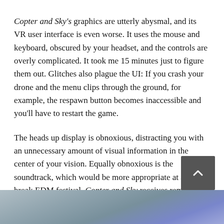Copter and Sky's graphics are utterly abysmal, and its VR user interface is even worse. It uses the mouse and keyboard, obscured by your headset, and the controls are overly complicated. It took me 15 minutes just to figure them out. Glitches also plague the UI: If you crash your drone and the menu clips through the ground, for example, the respawn button becomes inaccessible and you'll have to restart the game.
The heads up display is obnoxious, distracting you with an unnecessary amount of visual information in the center of your vision. Equally obnoxious is the soundtrack, which would be more appropriate at a spring break EDM festival. Copter and Sky receives remarkably frequent "optimization" updates, but none have made it any more bearable over time.
[Figure (photo): Partial view of a sky scene, likely from the Copter and Sky game, showing blue-grey cloudy sky with some lighter areas.]